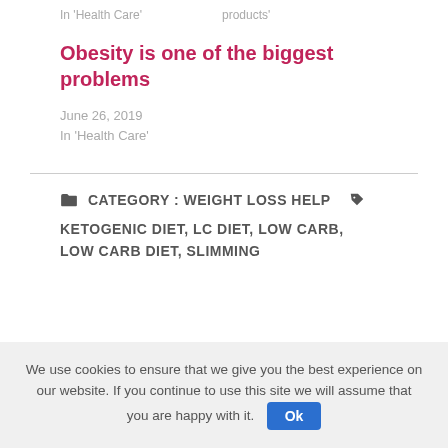In 'Health Care'     products'
Obesity is one of the biggest problems
June 26, 2019
In 'Health Care'
CATEGORY : WEIGHT LOSS HELP
KETOGENIC DIET, LC DIET, LOW CARB, LOW CARB DIET, SLIMMING
We use cookies to ensure that we give you the best experience on our website. If you continue to use this site we will assume that you are happy with it.